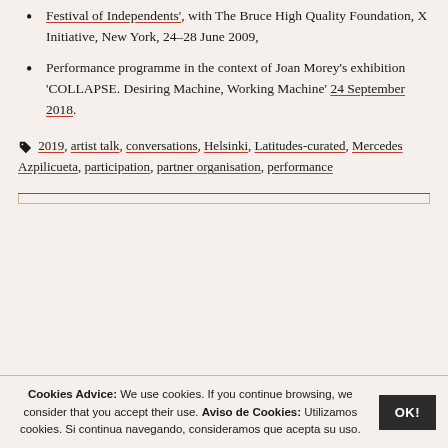Festival of Independents', with The Bruce High Quality Foundation, X Initiative, New York, 24–28 June 2009,
Performance programme in the context of Joan Morey's exhibition 'COLLAPSE. Desiring Machine, Working Machine' 24 September 2018.
2019, artist talk, conversations, Helsinki, Latitudes-curated, Mercedes Azpilicueta, participation, partner organisation, performance
Cookies Advice: We use cookies. If you continue browsing, we consider that you accept their use. Aviso de Cookies: Utilizamos cookies. Si continua navegando, consideramos que acepta su uso.